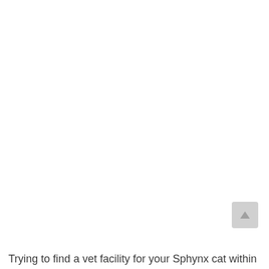[Figure (other): Scroll-to-top button UI element — a small grey rounded square with an upward-pointing arrow icon, positioned near the bottom-right of the page.]
Trying to find a vet facility for your Sphynx cat within